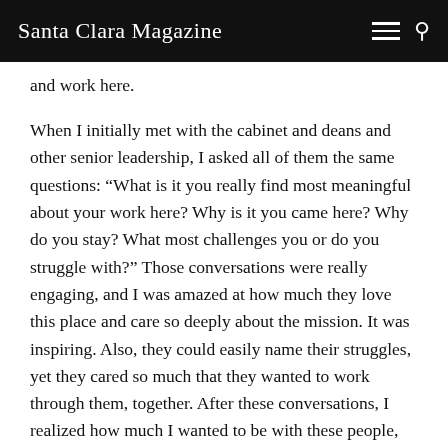Santa Clara Magazine
and work here.
When I initially met with the cabinet and deans and other senior leadership, I asked all of them the same questions: “What is it you really find most meaningful about your work here? Why is it you came here? Why do you stay? What most challenges you or do you struggle with?” Those conversations were really engaging, and I was amazed at how much they love this place and care so deeply about the mission. It was inspiring. Also, they could easily name their struggles, yet they cared so much that they wanted to work through them, together. After these conversations, I realized how much I wanted to be with these people, serving a mission greater than